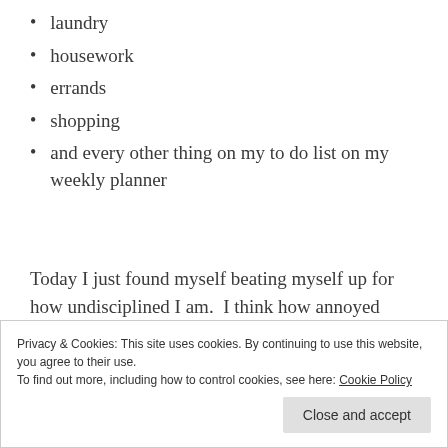laundry
housework
errands
shopping
and every other thing on my to do list on my weekly planner
Today I just found myself beating myself up for how undisciplined I am.  I think how annoyed people with the strength of
Privacy & Cookies: This site uses cookies. By continuing to use this website, you agree to their use.
To find out more, including how to control cookies, see here: Cookie Policy
Close and accept